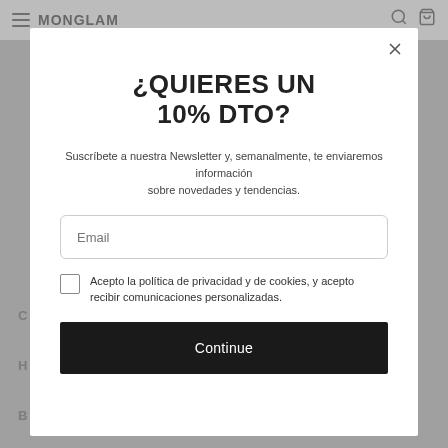MONGLAM
¿QUIERES UN 10% DTO?
Suscríbete a nuestra Newsletter y, semanalmente, te enviaremos información sobre novedades y tendencias.
Email
Acepto la política de privacidad y de cookies, y acepto recibir comunicaciones personalizadas.
Continue